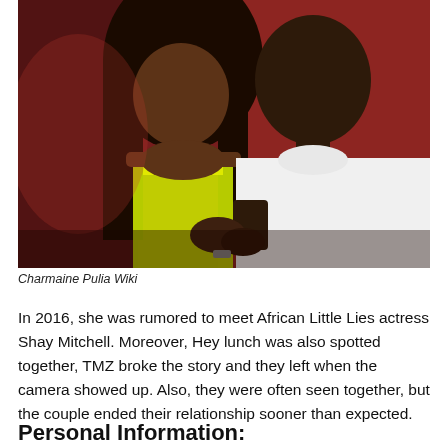[Figure (photo): Two people posing together at what appears to be a club or party setting with red lighting in the background. A woman in a yellow-green outfit with long dark hair sits next to a man in a white t-shirt.]
Charmaine Pulia Wiki
In 2016, she was rumored to meet African Little Lies actress Shay Mitchell. Moreover, Hey lunch was also spotted together, TMZ broke the story and they left when the camera showed up. Also, they were often seen together, but the couple ended their relationship sooner than expected.
Personal Information: